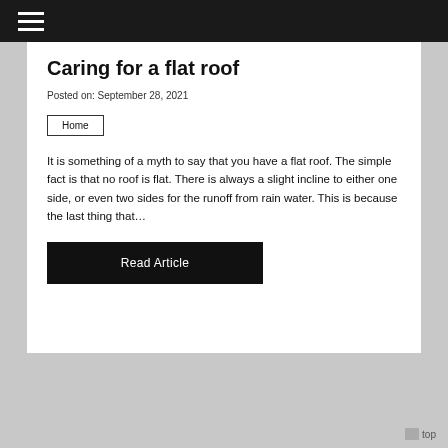≡
Caring for a flat roof
Posted on: September 28, 2021
Home
It is something of a myth to say that you have a flat roof. The simple fact is that no roof is flat. There is always a slight incline to either one side, or even two sides for the runoff from rain water. This is because the last thing that…
Read Article
top